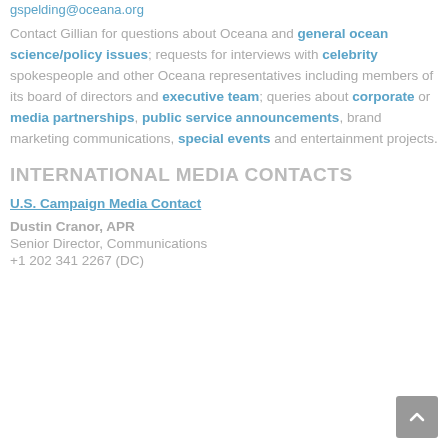gspelding@oceana.org
Contact Gillian for questions about Oceana and general ocean science/policy issues; requests for interviews with celebrity spokespeople and other Oceana representatives including members of its board of directors and executive team; queries about corporate or media partnerships, public service announcements, brand marketing communications, special events and entertainment projects.
INTERNATIONAL MEDIA CONTACTS
U.S. Campaign Media Contact
Dustin Cranor, APR
Senior Director, Communications
+1 202 341 2267 (DC)